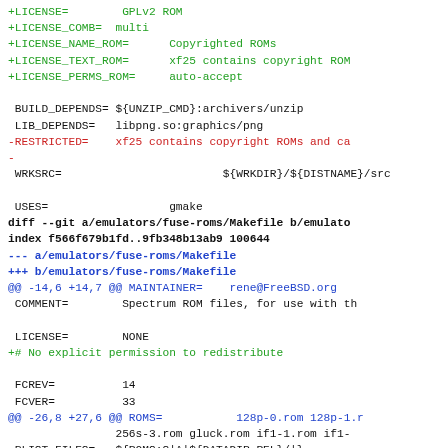+LICENSE=        GPLv2 ROM
+LICENSE_COMB=  multi
+LICENSE_NAME_ROM=      Copyrighted ROMs
+LICENSE_TEXT_ROM=      xf25 contains copyright ROM
+LICENSE_PERMS_ROM=     auto-accept
BUILD_DEPENDS= ${UNZIP_CMD}:archivers/unzip
 LIB_DEPENDS=   libpng.so:graphics/png
-RESTRICTED=    xf25 contains copyright ROMs and ca
-
 WRKSRC=                        ${WRKDIR}/${DISTNAME}/src
USES=                  gmake
diff --git a/emulators/fuse-roms/Makefile b/emulato
index f566f679b1fd..9fb348b13ab9 100644
--- a/emulators/fuse-roms/Makefile
+++ b/emulators/fuse-roms/Makefile
@@ -14,6 +14,7 @@ MAINTAINER=    rene@FreeBSD.org
 COMMENT=        Spectrum ROM files, for use with th

 LICENSE=        NONE
+# No explicit permission to redistribute

 FCREV=          14
 FCVER=          33
@@ -26,8 +27,6 @@ ROMS=           128p-0.rom 128p-1.r
                256s-3.rom gluck.rom if1-1.rom if1-
 PLIST_FILES=    ${ROMS:S|^|${DATADIR_REL}/|}